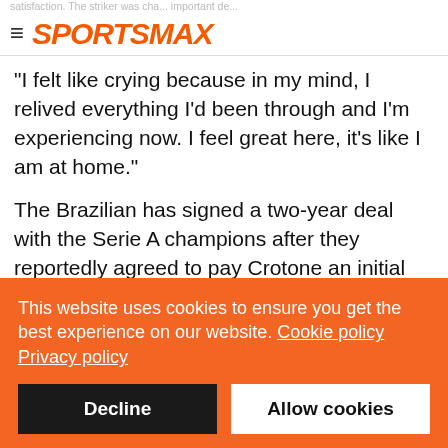SPORTSMAX
"I felt like crying because in my mind, I relived everything I'd been through and I'm experiencing now. I feel great here, it's like I am at home."
The Brazilian has signed a two-year deal with the Serie A champions after they reportedly agreed to pay Crotone an initial fee of €4.5million for his services.
This website uses cookies to ensure you get the best experience on our website. Cookie policy Privacy policy
Decline
Allow cookies